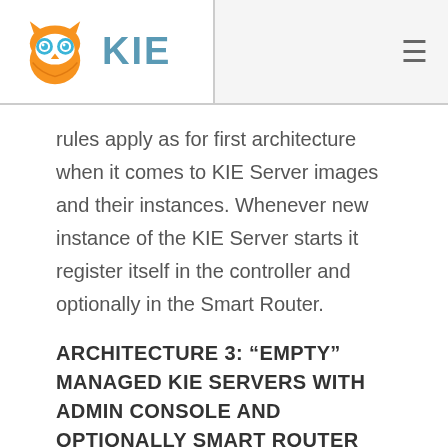KIE
rules apply as for first architecture when it comes to KIE Server images and their instances. Whenever new instance of the KIE Server starts it register itself in the controller and optionally in the Smart Router.
ARCHITECTURE 3: “EMPTY” MANAGED KIE SERVERS WITH ADMIN CONSOLE AND OPTIONALLY SMART ROUTER
Another architecture moves into another direction in terms of architecture